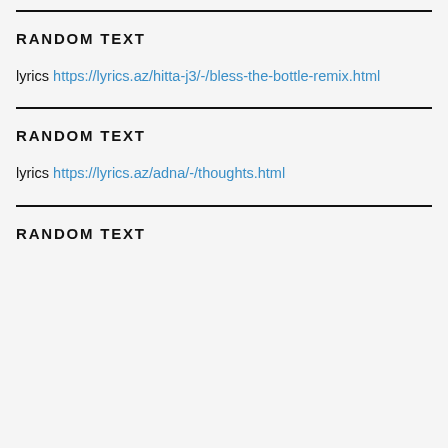RANDOM TEXT
lyrics https://lyrics.az/hitta-j3/-/bless-the-bottle-remix.html
RANDOM TEXT
lyrics https://lyrics.az/adna/-/thoughts.html
RANDOM TEXT